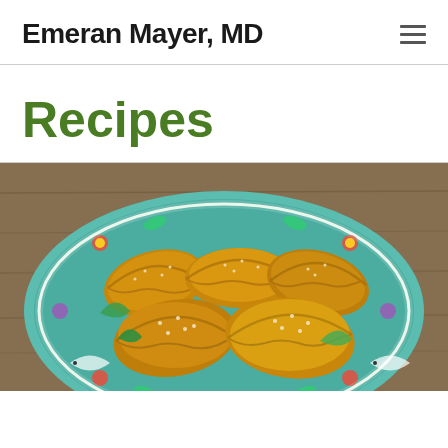Emeran Mayer, MD
Recipes
[Figure (photo): Golden baked empanadas arranged on a colorful decorative ceramic plate with blue and teal folk art patterns, with green arugula leaves, on a wooden surface]